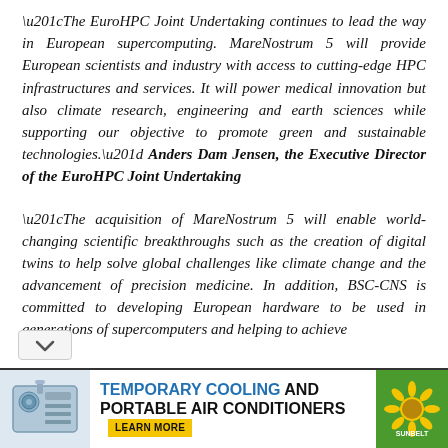“The EuroHPC Joint Undertaking continues to lead the way in European supercomputing. MareNostrum 5 will provide European scientists and industry with access to cutting-edge HPC infrastructures and services. It will power medical innovation but also climate research, engineering and earth sciences while supporting our objective to promote green and sustainable technologies.” Anders Dam Jensen, the Executive Director of the EuroHPC Joint Undertaking
“The acquisition of MareNostrum 5 will enable world-changing scientific breakthroughs such as the creation of digital twins to help solve global challenges like climate change and the advancement of precision medicine. In addition, BSC-CNS is committed to developing European hardware to be used in generations of supercomputers and helping to achieve
[Figure (other): Advertisement banner: TEMPORARY COOLING AND PORTABLE AIR CONDITIONERS with LEARN MORE button and Sunbelt logo]